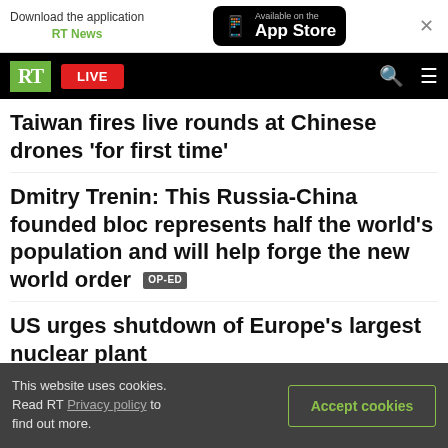[Figure (screenshot): App download banner with RT News app store badge and close button]
[Figure (screenshot): RT News navigation bar with LIVE button, search icon, and menu icon]
Taiwan fires live rounds at Chinese drones 'for first time'
Dmitry Trenin: This Russia-China founded bloc represents half the world's population and will help forge the new world order  OP-ED
US urges shutdown of Europe's largest nuclear plant
Pacific nation bars US warships
Ukraine accused of targeting possible route of
This website uses cookies. Read RT Privacy policy to find out more.